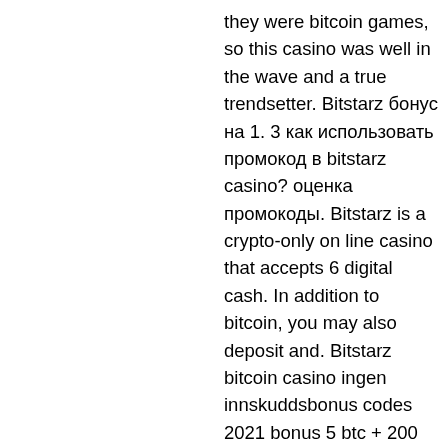they were bitcoin games, so this casino was well in the wave and a true trendsetter. Bitstarz бонус на 1. 3 как использовать промокод в bitstarz casino? оценка промокоды. Bitstarz is a crypto-only on line casino that accepts 6 digital cash. In addition to bitcoin, you may also deposit and. Bitstarz bitcoin casino ingen innskuddsbonus codes 2021 bonus 5 btc + 200 free spins, bitstarz 20 ilmaiskierroksia. No deposit bonus - rating. Bitstarz grouped its games into five categories: slots, jackpots, table games, live casino, and btc Yes, most Bitcoin casino sites are all about flexibility, bitstarz 5 btc.
Yet, it's not about the numbers, but the quality of the games. Known as provably fair, all games featured on crypto gambling sites will come with a set of unique features making it quite fun to